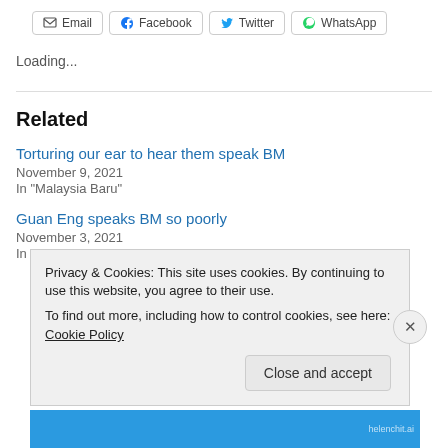[Figure (screenshot): Share buttons row: Email, Facebook, Twitter, WhatsApp]
Loading...
Related
Torturing our ear to hear them speak BM
November 9, 2021
In "Malaysia Baru"
Guan Eng speaks BM so poorly
November 3, 2021
In "Cina DAP"
Privacy & Cookies: This site uses cookies. By continuing to use this website, you agree to their use.
To find out more, including how to control cookies, see here: Cookie Policy